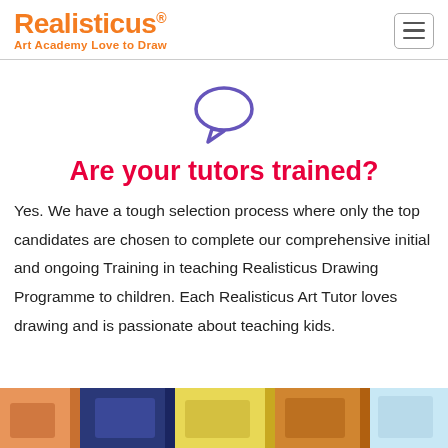Realisticus® Art Academy Love to Draw
[Figure (illustration): Speech bubble / chat icon outline in purple/indigo color, centered on page]
Are your tutors trained?
Yes. We have a tough selection process where only the top candidates are chosen to complete our comprehensive initial and ongoing Training in teaching Realisticus Drawing Programme to children. Each Realisticus Art Tutor loves drawing and is passionate about teaching kids.
[Figure (photo): Photo strip at bottom showing children drawing and doing art activities in a classroom setting]